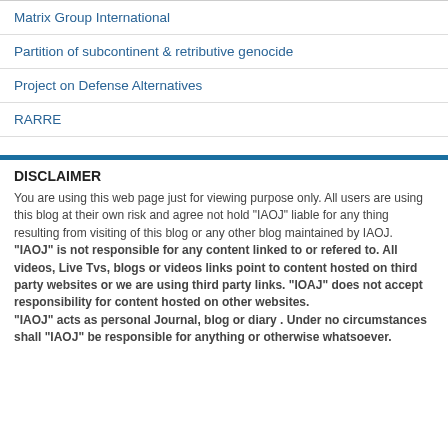Matrix Group International
Partition of subcontinent & retributive genocide
Project on Defense Alternatives
RARRE
DISCLAIMER
You are using this web page just for viewing purpose only. All users are using this blog at their own risk and agree not hold "IAOJ" liable for any thing resulting from visiting of this blog or any other blog maintained by IAOJ.
"IAOJ" is not responsible for any content linked to or refered to. All videos, Live Tvs, blogs or videos links point to content hosted on third party websites or we are using third party links. "IOAJ" does not accept responsibility for content hosted on other websites.
"IAOJ" acts as personal Journal, blog or diary . Under no circumstances shall "IAOJ" be responsible for anything or otherwise whatsoever.